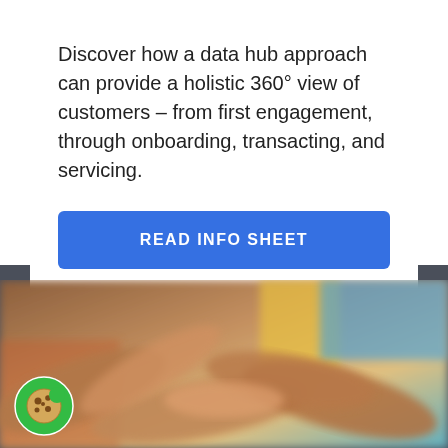Discover how a data hub approach can provide a holistic 360° view of customers – from first engagement, through onboarding, transacting, and servicing.
[Figure (other): Blue button labeled READ INFO SHEET]
[Figure (photo): Blurred photo of people's hands reaching together in a group setting, outdoors with colorful backgrounds]
[Figure (other): Green circular cookie consent icon in bottom-left corner]